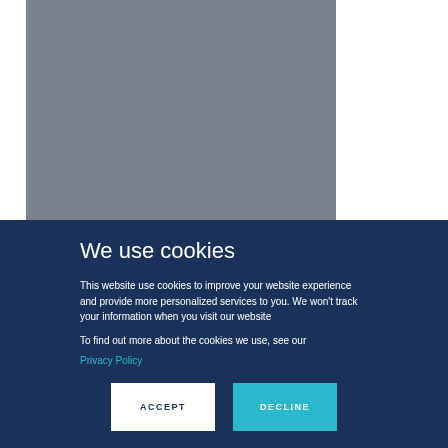[Figure (other): Gray rectangle background area, partially visible behind cookie consent banner overlay]
We use cookies
This website use cookies to improve your website experience and provide more personalized services to you. We won't track your information when you visit our website
To find out more about the cookies we use, see our Privacy Policy
ACCEPT
DECLINE